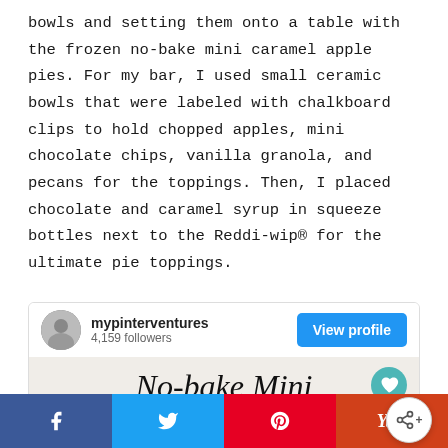bowls and setting them onto a table with the frozen no-bake mini caramel apple pies. For my bar, I used small ceramic bowls that were labeled with chalkboard clips to hold chopped apples, mini chocolate chips, vanilla granola, and pecans for the toppings. Then, I placed chocolate and caramel syrup in squeeze bottles next to the Reddi-wip® for the ultimate pie toppings.
[Figure (screenshot): Pinterest profile card for mypinterventures with 4,159 followers, a 'View profile' button, and a card image showing cursive text 'No-bake Mini Caramel Apple Pie...' with a heart button and share button overlay.]
[Figure (infographic): Social sharing bar at the bottom with Facebook, Twitter, Pinterest, and Yummly buttons, plus a floating share icon button.]